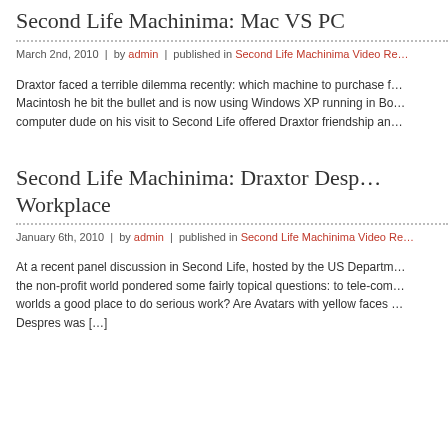Second Life Machinima: Mac VS PC
March 2nd, 2010  |  by admin  |  published in Second Life Machinima Video Re…
Draxtor faced a terrible dilemma recently: which machine to purchase f… Macintosh he bit the bullet and is now using Windows XP running in Bo… computer dude on his visit to Second Life offered Draxtor friendship an…
Second Life Machinima: Draxtor Desp… Workplace
January 6th, 2010  |  by admin  |  published in Second Life Machinima Video Re…
At a recent panel discussion in Second Life, hosted by the US Departm… the non-profit world pondered some fairly topical questions: to tele-com… worlds a good place to do serious work? Are Avatars with yellow faces … Despres was […]